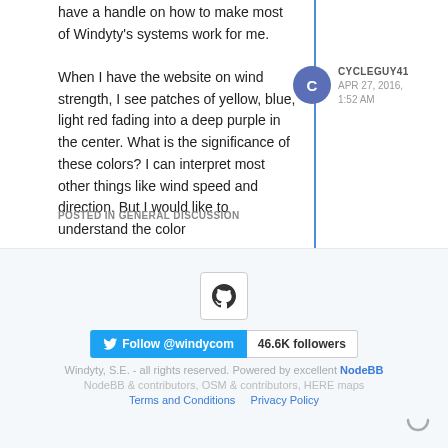have a handle on how to make most of Windyty's systems work for me. When I have the website on wind strength, I see patches of yellow, blue, light red fading into a deep purple in the center. What is the significance of these colors? I can interpret most other things like wind speed and direction. But I would like to understand the color
CYCLEGUY41
APR 27, 2016, 1:52 AM
POSTED IN GENERAL DISCUSSION
[Figure (logo): GitHub Octocat logo inside a rounded square border]
Follow @windycom  46.6K followers
Windyty, S.E. - all rights reserved. Powered by excellent NodeBB
NodeBB & contributors, OSM & contributors, HERE maps
Terms and Conditions  Privacy Policy